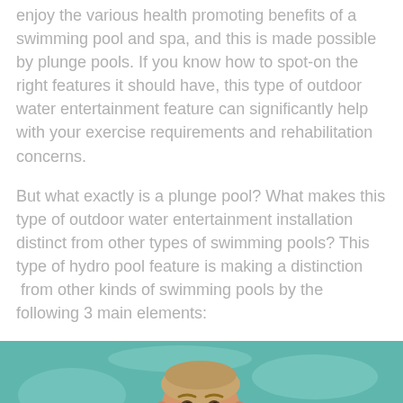enjoy the various health promoting benefits of a swimming pool and spa, and this is made possible by plunge pools. If you know how to spot-on the right features it should have, this type of outdoor water entertainment feature can significantly help with your exercise requirements and rehabilitation concerns.
But what exactly is a plunge pool? What makes this type of outdoor water entertainment installation distinct from other types of swimming pools? This type of hydro pool feature is making a distinction  from other kinds of swimming pools by the following 3 main elements:
[Figure (photo): A smiling man with muscular build emerging from a pool with turquoise water, viewed from the chest up, with bright sunlit water and pool surroundings in the background.]